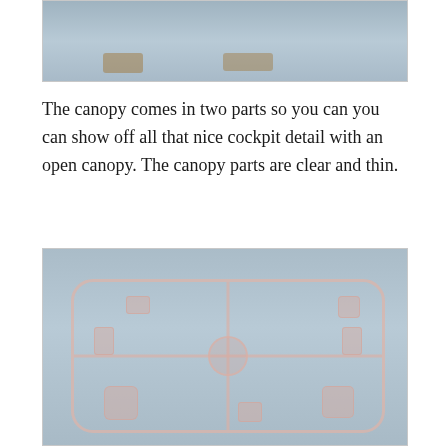[Figure (photo): Top portion of a photo showing model kit parts on a blue-grey surface, partially cropped at the top of the page.]
The canopy comes in two parts so you can you can show off all that nice cockpit detail with an open canopy. The canopy parts are clear and thin.
[Figure (photo): Photo of a clear transparent plastic model kit sprue containing canopy parts on a blue-grey background. The sprue has a rectangular frame with rounded corners, cross-bars, a central circular connector, and multiple small clear parts attached.]